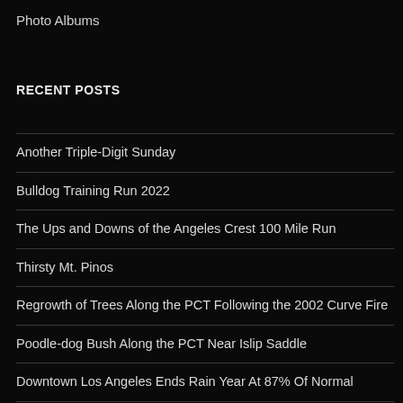Photo Albums
RECENT POSTS
Another Triple-Digit Sunday
Bulldog Training Run 2022
The Ups and Downs of the Angeles Crest 100 Mile Run
Thirsty Mt. Pinos
Regrowth of Trees Along the PCT Following the 2002 Curve Fire
Poodle-dog Bush Along the PCT Near Islip Saddle
Downtown Los Angeles Ends Rain Year At 87% Of Normal
Interactive 3D Terrain View of Sheep Fire Perimeter, Near Wrightwood